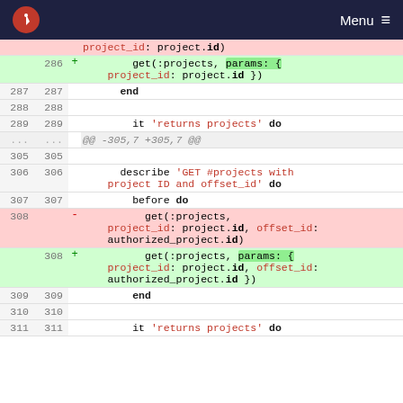Menu
[Figure (screenshot): Code diff view showing Ruby test file changes. Lines 286-311 shown with deleted (red) and added (green) lines for get(:projects) calls being refactored to use params: {} syntax.]